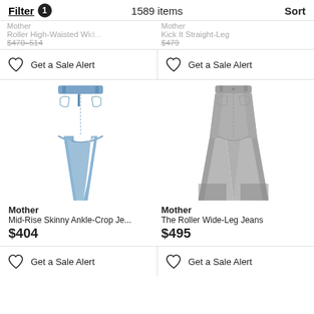Filter 1   1589 items   Sort
Mother   Roller High-Waisted Wi... Kick It Straight-Leg
$470–514   $479
Get a Sale Alert   Get a Sale Alert
[Figure (photo): Blue mid-rise skinny ankle-crop jeans with frayed hem]
[Figure (photo): Grey roller wide-leg jeans]
Mother
Mid-Rise Skinny Ankle-Crop Je...
$404
Mother
The Roller Wide-Leg Jeans
$495
Get a Sale Alert   Get a Sale Alert